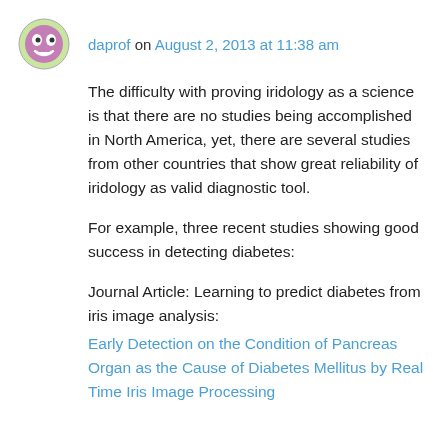daprof on August 2, 2013 at 11:38 am
The difficulty with proving iridology as a science is that there are no studies being accomplished in North America, yet, there are several studies from other countries that show great reliability of iridology as valid diagnostic tool.
For example, three recent studies showing good success in detecting diabetes:
Journal Article: Learning to predict diabetes from iris image analysis:
Early Detection on the Condition of Pancreas Organ as the Cause of Diabetes Mellitus by Real Time Iris Image Processing